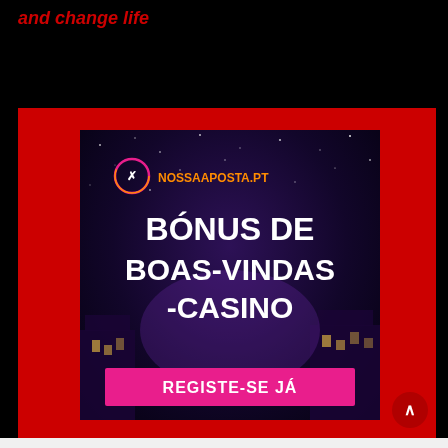and change life
[Figure (advertisement): NossaAposta.PT casino welcome bonus advertisement banner. Dark purple/night sky background with city silhouette. Orange logo and text 'NOSSAAPOSTA.PT'. Large white bold text reads 'BÓNUS DE BOAS-VINDAS -CASINO'. Pink/magenta button reads 'REGISTE-SE JÁ'. Red border frame around the ad.]